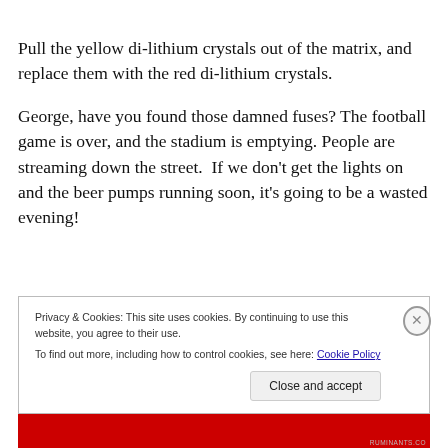Pull the yellow di-lithium crystals out of the matrix, and replace them with the red di-lithium crystals.
George, have you found those damned fuses? The football game is over, and the stadium is emptying. People are streaming down the street.  If we don't get the lights on and the beer pumps running soon, it's going to be a wasted evening!
Privacy & Cookies: This site uses cookies. By continuing to use this website, you agree to their use.
To find out more, including how to control cookies, see here: Cookie Policy